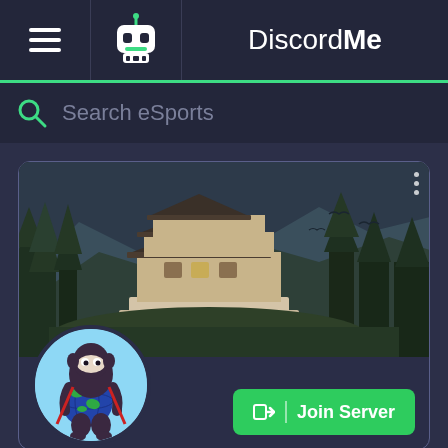DiscordMe
Search eSports
[Figure (screenshot): Discord server card with a Japanese castle banner image and a cartoon ninja mascot avatar holding a globe. Includes a Join Server button.]